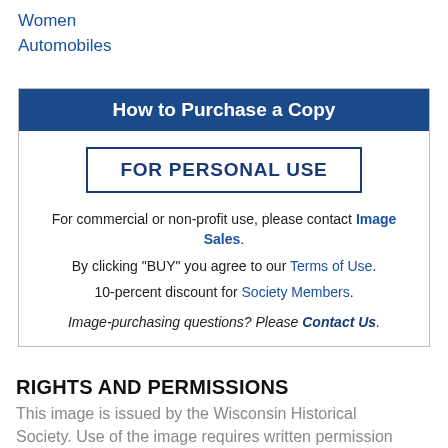Women
Automobiles
How to Purchase a Copy
FOR PERSONAL USE
For commercial or non-profit use, please contact Image Sales.
By clicking "BUY" you agree to our Terms of Use.
10-percent discount for Society Members.
Image-purchasing questions? Please Contact Us.
RIGHTS AND PERMISSIONS
This image is issued by the Wisconsin Historical Society. Use of the image requires written permission